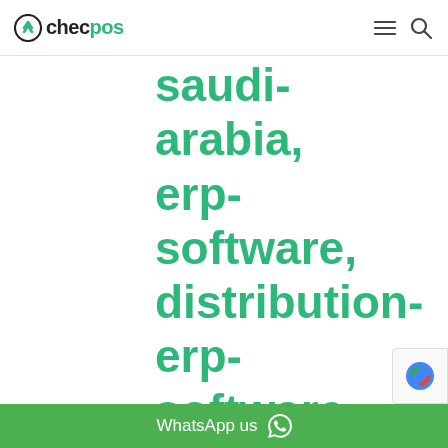checpos
saudi-arabia, erp-software, distribution-erp-software-in-saudi-arabia, dentist-emr-
[Figure (other): WhatsApp us button bar in green with WhatsApp icon]